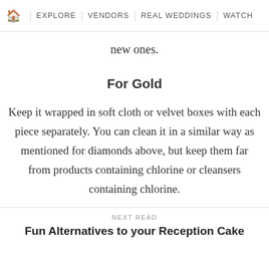🏠 | EXPLORE | VENDORS | REAL WEDDINGS | WATCH
new ones.
For Gold
Keep it wrapped in soft cloth or velvet boxes with each piece separately. You can clean it in a similar way as mentioned for diamonds above, but keep them far from products containing chlorine or cleansers containing chlorine.
NEXT READ
Fun Alternatives to your Reception Cake